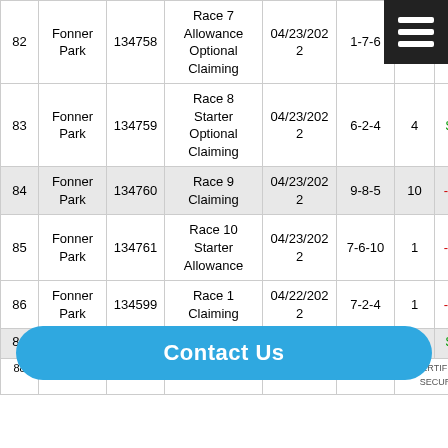| # | Track | Race ID | Race Type | Date | Results | Picks | P&L |
| --- | --- | --- | --- | --- | --- | --- | --- |
| 82 | Fonner Park | 134758 | Race 7 Allowance Optional Claiming | 04/23/2022 | 1-7-6 |  | -$2.0 |
| 83 | Fonner Park | 134759 | Race 8 Starter Optional Claiming | 04/23/2022 | 6-2-4 | 4 | $3.0 |
| 84 | Fonner Park | 134760 | Race 9 Claiming | 04/23/2022 | 9-8-5 | 10 | -$2.0 |
| 85 | Fonner Park | 134761 | Race 10 Starter Allowance | 04/23/2022 | 7-6-10 | 1 | -$2.0 |
| 86 | Fonner Park | 134599 | Race 1 Claiming | 04/22/2022 | 7-2-4 | 1 | -$2.0 |
| 87 (partial) |  |  |  |  |  |  | $4.8 |
| 88 (partial) | Fonner | 134601 | Race 3 | 04/22/2022 | 1-3-7 |  |  |